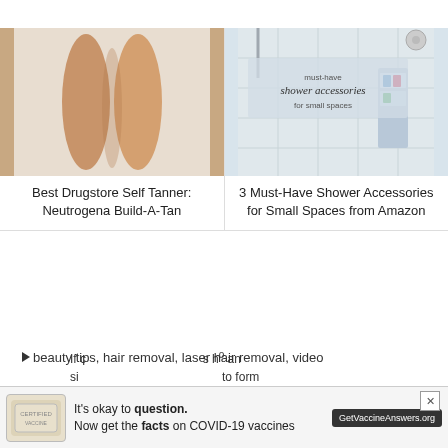[Figure (photo): Photo of person's legs with self-tanner applied, on a white fluffy rug]
Best Drugstore Self Tanner: Neutrogena Build-A-Tan
[Figure (photo): Photo of shower with accessories and text overlay reading 'must-have shower accessories for small spaces']
3 Must-Have Shower Accessories for Small Spaces from Amazon
beauty tips, hair removal, laser hair removal, video
7 Responses
lavanya
October 17, 2020 | Reply
[Figure (infographic): Ad banner: It's okay to question. Now get the facts on COVID-19 vaccines. GetVaccineAnswers.org]